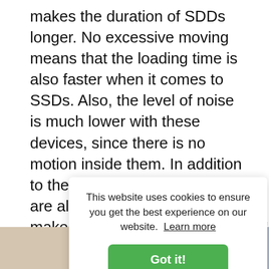makes the duration of SDDs longer. No excessive moving means that the loading time is also faster when it comes to SSDs. Also, the level of noise is much lower with these devices, since there is no motion inside them. In addition to these advantages, SSDs are also less bulky, which makes them perfect for the minimization IT trends, especially in the mobile and table sense.
However, the most important disadvantage when it co cos few
[Figure (screenshot): Cookie consent banner overlay on a webpage. Banner reads: 'This website uses cookies to ensure you get the best experience on our website. Learn more' with a green 'Got it!' button.]
[Figure (photo): Partial image strip at bottom: left side shows a beige/tan surface, right side shows a dark blue/grey surface, likely a photo of a computer or device.]